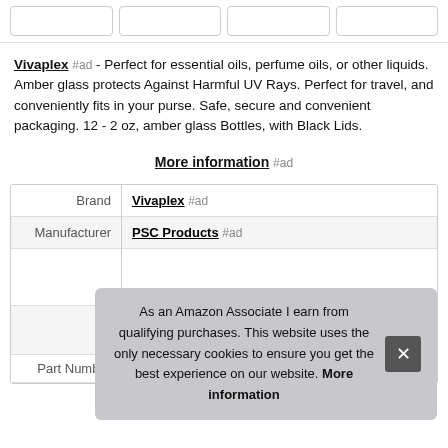[Figure (other): Row of four rectangular button/image placeholders at the top of the page]
Vivaplex #ad - Perfect for essential oils, perfume oils, or other liquids. Amber glass protects Against Harmful UV Rays. Perfect for travel, and conveniently fits in your purse. Safe, secure and convenient packaging. 12 - 2 oz, amber glass Bottles, with Black Lids.
More information #ad
|  |  |
| --- | --- |
| Brand | Vivaplex #ad |
| Manufacturer | PSC Products #ad |
| Part Number | VASC2-12 |
As an Amazon Associate I earn from qualifying purchases. This website uses the only necessary cookies to ensure you get the best experience on our website. More information